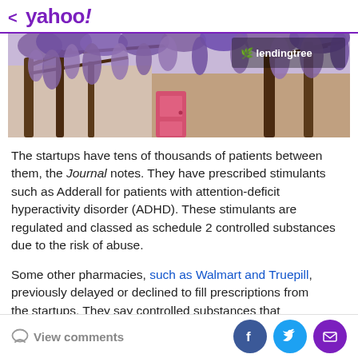< yahoo!
[Figure (photo): Banner advertisement image showing purple wisteria flowers hanging from trees with a pink door in the background. LendingTree logo visible in the upper right corner of the image.]
The startups have tens of thousands of patients between them, the Journal notes. They have prescribed stimulants such as Adderall for patients with attention-deficit hyperactivity disorder (ADHD). These stimulants are regulated and classed as schedule 2 controlled substances due to the risk of abuse.
Some other pharmacies, such as Walmart and Truepill, previously delayed or declined to fill prescriptions from the startups. They say controlled substances that
View comments